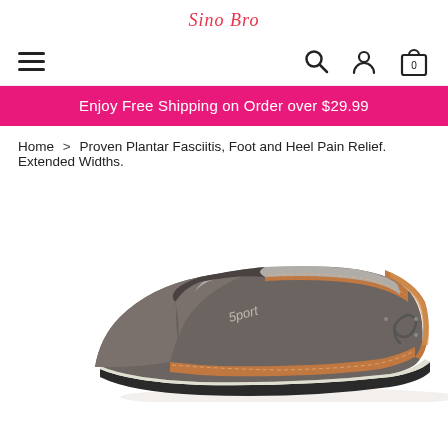Sino Bro
[Figure (screenshot): Navigation bar with hamburger menu icon on the left and search, user account, and shopping bag icons on the right]
Enjoy Free Shipping on Order over $29.99
Home > Proven Plantar Fasciitis, Foot and Heel Pain Relief. Extended Widths.
[Figure (photo): Brown canvas and tan leather slip-on shoe with '5port' branding, shown from the side against a white background]